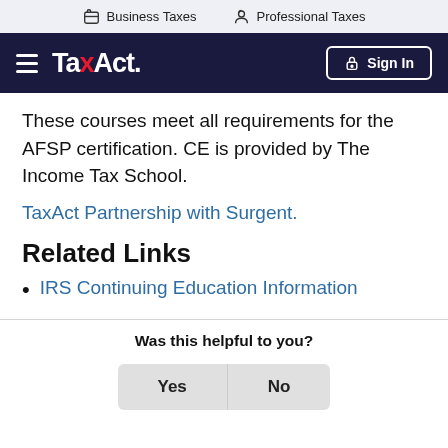Business Taxes   Professional Taxes
[Figure (screenshot): TaxAct navigation bar with hamburger menu, TaxAct logo, and Sign In button on dark navy background]
These courses meet all requirements for the AFSP certification. CE is provided by The Income Tax School.
TaxAct Partnership with Surgent.
Related Links
IRS Continuing Education Information
Was this helpful to you?
Yes   No